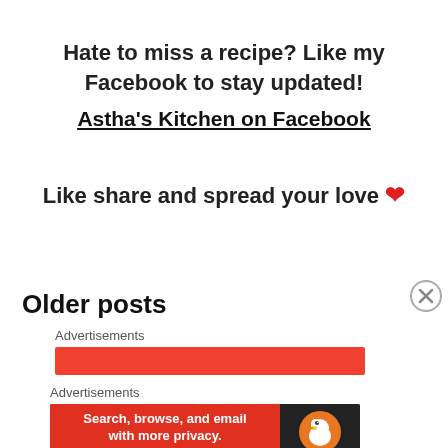Hate to miss a recipe? Like my Facebook to stay updated!
Astha's Kitchen on Facebook
Like share and spread your love ❤
Older posts
Advertisements
[Figure (other): Red advertisement banner bar]
Advertisements
[Figure (other): DuckDuckGo advertisement banner: Search, browse, and email with more privacy. All in One Free App]